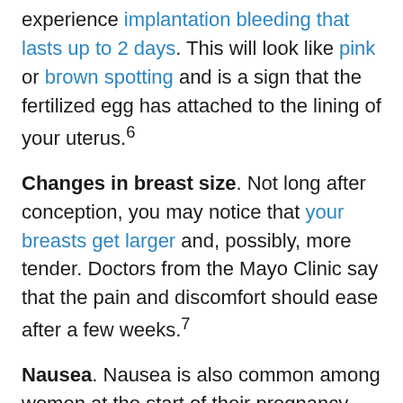experience implantation bleeding that lasts up to 2 days. This will look like pink or brown spotting and is a sign that the fertilized egg has attached to the lining of your uterus.⁶
Changes in breast size. Not long after conception, you may notice that your breasts get larger and, possibly, more tender. Doctors from the Mayo Clinic say that the pain and discomfort should ease after a few weeks.⁷
Nausea. Nausea is also common among women at the start of their pregnancy. The feelings of sickness can happen at any time of the day and may result in vomiting or you may gag without bringing anything up.